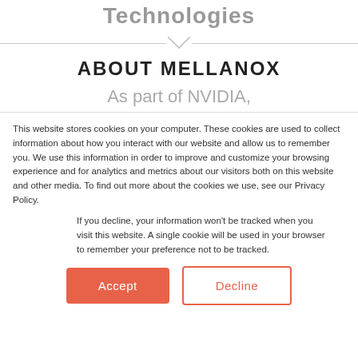Technologies
ABOUT MELLANOX
As part of NVIDIA,
This website stores cookies on your computer. These cookies are used to collect information about how you interact with our website and allow us to remember you. We use this information in order to improve and customize your browsing experience and for analytics and metrics about our visitors both on this website and other media. To find out more about the cookies we use, see our Privacy Policy.
If you decline, your information won't be tracked when you visit this website. A single cookie will be used in your browser to remember your preference not to be tracked.
Accept  Decline